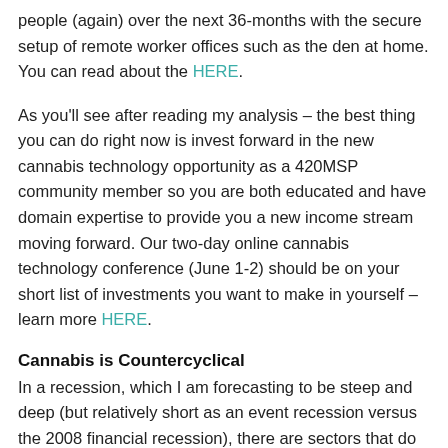people (again) over the next 36-months with the secure setup of remote worker offices such as the den at home. You can read about the HERE.
As you'll see after reading my analysis – the best thing you can do right now is invest forward in the new cannabis technology opportunity as a 420MSP community member so you are both educated and have domain expertise to provide you a new income stream moving forward. Our two-day online cannabis technology conference (June 1-2) should be on your short list of investments you want to make in yourself – learn more HERE.
Cannabis is Countercyclical
In a recession, which I am forecasting to be steep and deep (but relatively short as an event recession versus the 2008 financial recession), there are sectors that do well. I've already